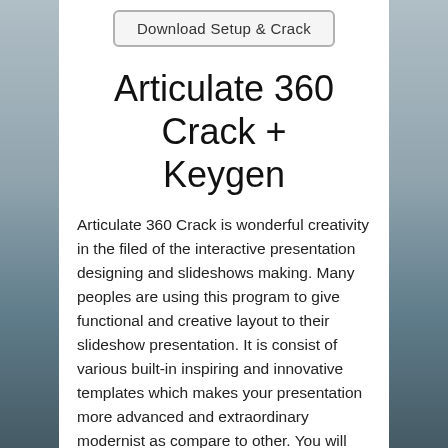[Figure (screenshot): Download Setup & Crack button - grey bordered button]
Articulate 360 Crack + Keygen
Articulate 360 Crack is wonderful creativity in the filed of the interactive presentation designing and slideshows making. Many peoples are using this program to give functional and creative layout to their slideshow presentation. It is consist of various built-in inspiring and innovative templates which makes your presentation more advanced and extraordinary modernist as compare to other. You will provide a free hand to add various elements, files in your slideshows like pictures, audio, videos, graphs and many more.
[Figure (logo): Articulate 360 logo - blue donut/ring shape partially visible at bottom, flanked by black rectangles on left and right]